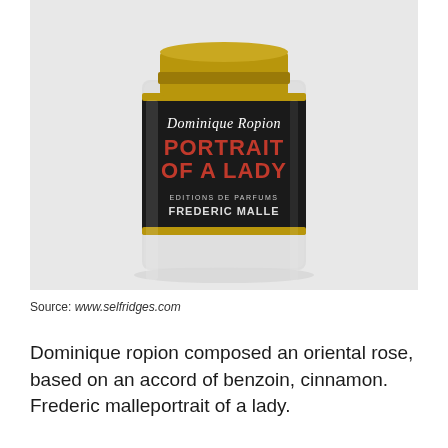[Figure (photo): A cylindrical perfume bottle with a black label. The label reads 'Dominique Ropion' in white italic text, 'PORTRAIT OF A LADY' in large red text, and 'EDITIONS DE PARFUMS FREDERIC MALLE' in smaller white text. The bottle has a gold cap and sits on a light grey background.]
Source: www.selfridges.com
Dominique ropion composed an oriental rose, based on an accord of benzoin, cinnamon. Frederic malleportrait of a lady.